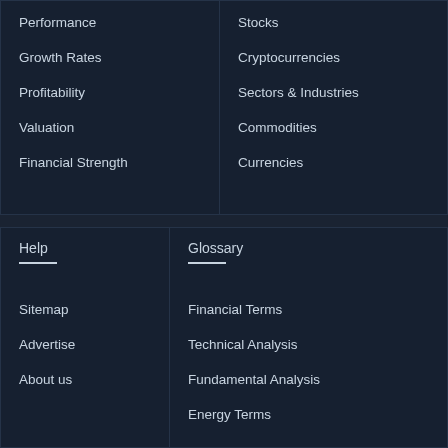Performance
Growth Rates
Profitability
Valuation
Financial Strength
Stocks
Cryptocurrencies
Sectors & Industries
Commodities
Currencies
Help
Sitemap
Advertise
About us
Glossary
Financial Terms
Technical Analysis
Fundamental Analysis
Energy Terms